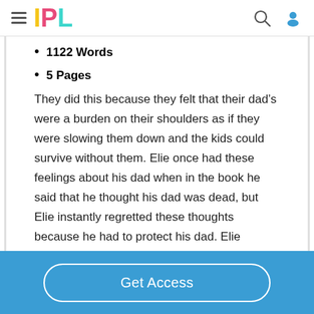IPL
1122 Words
5 Pages
They did this because they felt that their dad’s were a burden on their shoulders as if they were slowing them down and the kids could survive without them. Elie once had these feelings about his dad when in the book he said that he thought his dad was dead, but Elie instantly regretted these thoughts because he had to protect his dad. Elie thought that if his dad died, he would no longer have a reason to live. Elie felt very strong about his dad because he was always protecting him and not letting him
Get Access